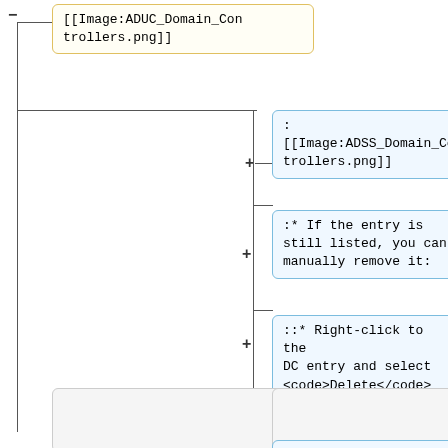− [[Image:ADUC_Domain_Controllers.png]]
: [[Image:ADSS_Domain_Controllers.png]]
:* If the entry is still listed, you can manually remove it:
::* Right-click to the DC entry and select <code>Delete</code>
::* Click <code>Yes</code> to confirm.
* Open the <code>DNS</code> application and verify